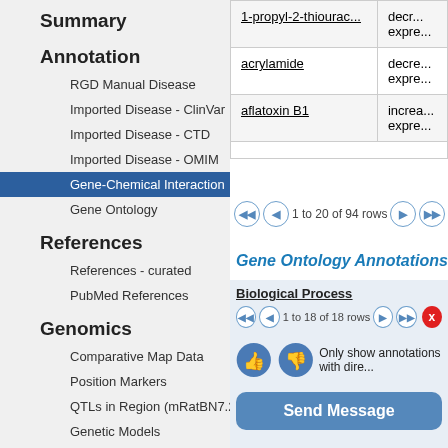Summary
Annotation
RGD Manual Disease
Imported Disease - ClinVar
Imported Disease - CTD
Imported Disease - OMIM
Gene-Chemical Interaction
Gene Ontology
References
References - curated
PubMed References
Genomics
Comparative Map Data
Position Markers
QTLs in Region (mRatBN7.2)
Genetic Models
miRNA Target Status
Expression
| Chemical | Interaction |
| --- | --- |
| 1-propyl-2-thiourac... | decr... expre... |
| acrylamide | decre... expre... |
| aflatoxin B1 | increa... expre... |
1 to 20 of 94 rows
Gene Ontology Annotations
Biological Process
1 to 18 of 18 rows
Only show annotations with dire...
Send Message